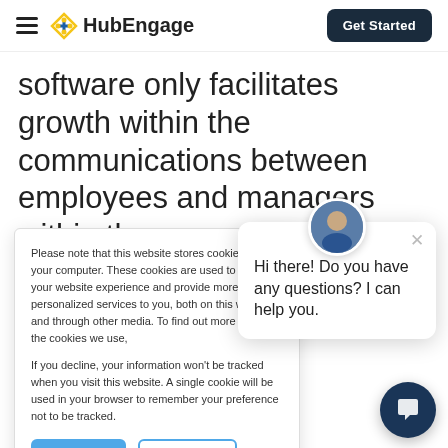HubEngage — Get Started
software only facilitates growth within the communications between employees and managers within the company. Features like push notifications mean that
Please note that this website stores cookies on your computer. These cookies are used to improve your website experience and provide more personalized services to you, both on this website and through other media. To find out more about the cookies we use,

If you decline, your information won't be tracked when you visit this website. A single cookie will be used in your browser to remember your preference not to be tracked.
Hi there! Do you have any questions? I can help you.